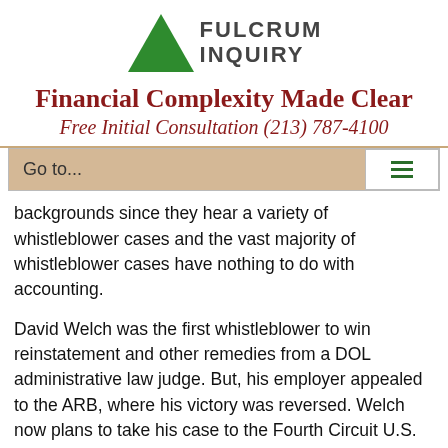[Figure (logo): Fulcrum Inquiry logo with green triangle and bold text reading FULCRUM INQUIRY]
Financial Complexity Made Clear
Free Initial Consultation (213) 787-4100
Go to...
backgrounds since they hear a variety of whistleblower cases and the vast majority of whistleblower cases have nothing to do with accounting.
David Welch was the first whistleblower to win reinstatement and other remedies from a DOL administrative law judge. But, his employer appealed to the ARB, where his victory was reversed. Welch now plans to take his case to the Fourth Circuit U.S. Court of Appeals.